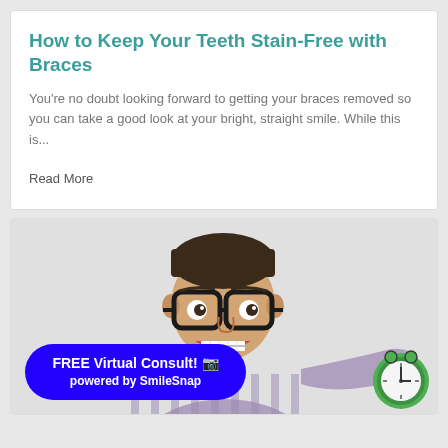How to Keep Your Teeth Stain-Free with Braces
You're no doubt looking forward to getting your braces removed so you can take a good look at your bright, straight smile. While this is...
Read More
[Figure (photo): A smiling young man wearing glasses and braces, holding a green alarm clock, on a light gray background. A blue rounded button overlay reads 'FREE Virtual Consult! [camera icon]' and 'powered by SmileSnap']